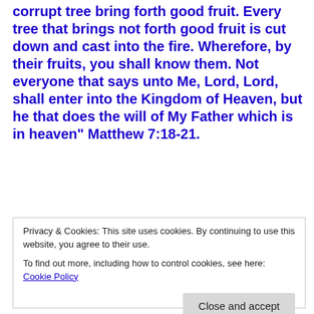corrupt tree bring forth good fruit. Every tree that brings not forth good fruit is cut down and cast into the fire. Wherefore, by their fruits, you shall know them. Not everyone that says unto Me, Lord, Lord, shall enter into the Kingdom of Heaven, but he that does the will of My Father which is in heaven" Matthew 7:18-21.
Hundreds of Bible prophecies have been fulfilled and those remaining shall surely come to pass. Are you prepared to stand before God and give an account of
Privacy & Cookies: This site uses cookies. By continuing to use this website, you agree to their use.
To find out more, including how to control cookies, see here: Cookie Policy